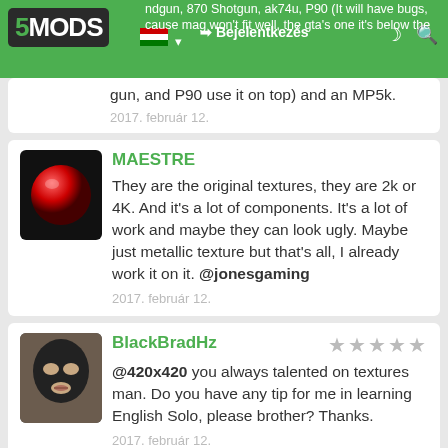5MODS — Bejelentkezés — handgun, 870 Shotgun, ak74u, P90 (It will have bugs, cause mag won't fit well, the gta's one it's below the gun, and P90 use it on top) and an MP5k.
handgun, 870 Shotgun, ak74u, P90 (It will have bugs, cause mag won't fit well, the gta's one it's below the gun, and P90 use it on top) and an MP5k.
2017. február 12.
MAESTRE
They are the original textures, they are 2k or 4K. And it's a lot of components. It's a lot of work and maybe they can look ugly. Maybe just metallic texture but that's all, I already work it on it. @jonesgaming
2017. február 12.
BlackBradHz
@420x420 you always talented on textures man. Do you have any tip for me in learning English Solo, please brother? Thanks.
2017. február 12.
420x420 Kitiltva
@BlackBradHz Not really man lol not an english